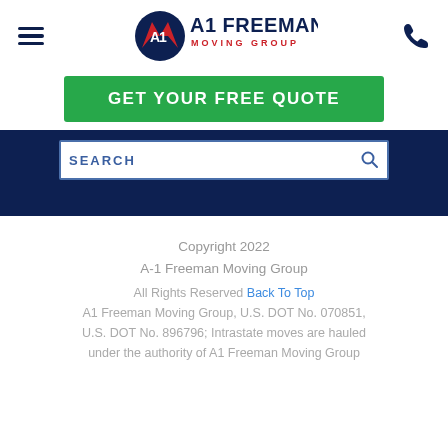[Figure (logo): A1 Freeman Moving Group logo with hamburger menu on left and phone icon on right]
GET YOUR FREE QUOTE
SEARCH
Copyright 2022
A-1 Freeman Moving Group
All Rights Reserved Back To Top
A1 Freeman Moving Group, U.S. DOT No. 070851, U.S. DOT No. 896796; Intrastate moves are hauled under the authority of A1 Freeman Moving Group